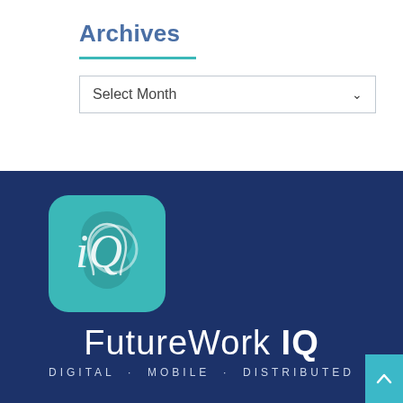Archives
Select Month
[Figure (logo): FutureWork IQ logo with teal rounded-square icon featuring a stylized head with 'iQ' text, company name 'FutureWork IQ' in white on dark navy background, tagline 'DIGITAL · MOBILE · DISTRIBUTED']